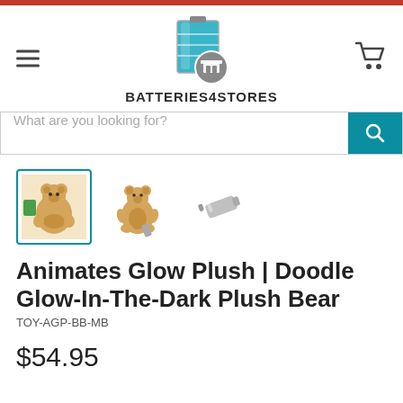[Figure (logo): Batteries4Stores logo: battery icon with store badge and bold text BATTERIES4STORES]
[Figure (screenshot): Search bar with placeholder 'What are you looking for?' and teal search button with magnifying glass icon]
[Figure (photo): Three product thumbnails: plush bear in packaging, plush bear sitting with battery, and a single battery]
Animates Glow Plush | Doodle Glow-In-The-Dark Plush Bear
TOY-AGP-BB-MB
$54.95